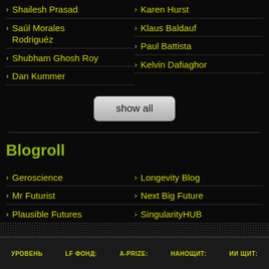Shailesh Prasad
Karen Hurst
Saúl Morales Rodriguéz
Klaus Baldauf
Shubham Ghosh Roy
Paul Battista
Dan Kummer
Kelvin Dafiaghor
Blogroll
Geroscience
Longevity Blog
Mr Futurist
Next Big Future
Plausible Futures
SingularityHUB
УРОВЕНЬ   LF ФОНД:   A-PRIZE:   НАНОЩИТ:   ИИ ЩИТ: